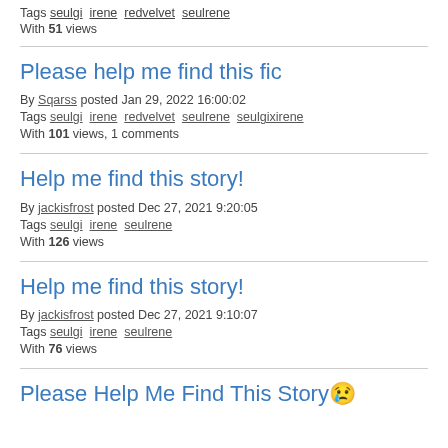Tags seulgi irene redvelvet seulrene
With 51 views
Please help me find this fic
By Sqarss posted Jan 29, 2022 16:00:02
Tags seulgi irene redvelvet seulrene seulgixirene
With 101 views, 1 comments
Help me find this story!
By jackisfrost posted Dec 27, 2021 9:20:05
Tags seulgi irene seulrene
With 126 views
Help me find this story!
By jackisfrost posted Dec 27, 2021 9:10:07
Tags seulgi irene seulrene
With 76 views
Please Help Me Find This Story😢